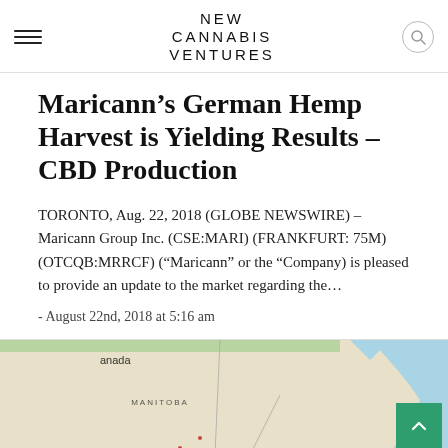NEW CANNABIS VENTURES
Maricann’s German Hemp Harvest is Yielding Results – CBD Production
TORONTO, Aug. 22, 2018 (GLOBE NEWSWIRE) – Maricann Group Inc. (CSE:MARI) (FRANKFURT: 75M) (OTCQB:MRRCF) (“Maricann” or the “Company) is pleased to provide an update to the market regarding the…
- August 22nd, 2018 at 5:16 am
[Figure (map): Map showing Canada with Manitoba province visible, land and water features in muted colors]